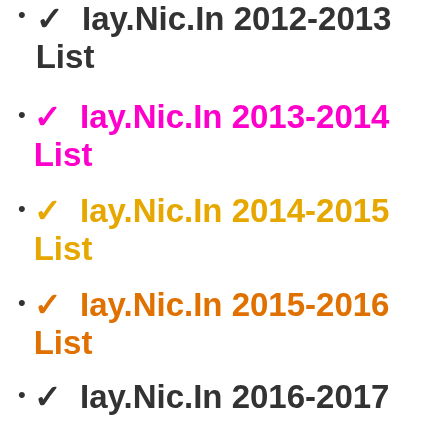✓ Iay.Nic.In 2012-2013 List
✓ Iay.Nic.In 2013-2014 List
✓ Iay.Nic.In 2014-2015 List
✓ Iay.Nic.In 2015-2016 List
✓ Iay.Nic.In 2016-2017 List
✓ Iay.Nic.In 2017-2018 List
✓ Iay.Nic.In 2018-2019 List